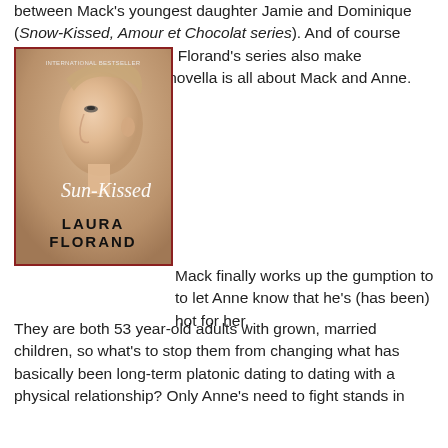between Mack's youngest daughter Jamie and Dominique (Snow-Kissed, Amour et Chocolat series). And of course other protagonists from Florand's series also make appearances, but, the novella is all about Mack and Anne.
[Figure (illustration): Book cover of 'Sun-Kissed' by Laura Florand, showing a woman's face in profile looking upward, with the title in italic script and the author name in bold block letters at the bottom. Bordered in dark red.]
Mack finally works up the gumption to to let Anne know that he's (has been) hot for her. They are both 53 year-old adults with grown, married children, so what's to stop them from changing what has basically been long-term platonic dating to dating with a physical relationship? Only Anne's need to fight stands in